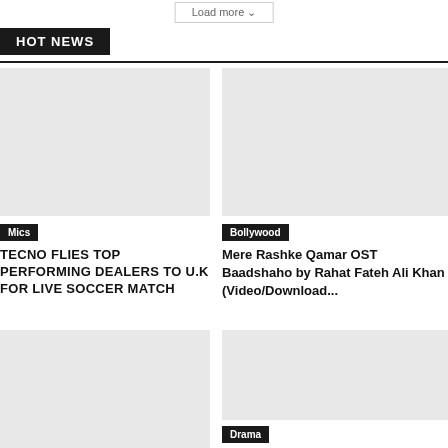Load more
HOT NEWS
[Figure (photo): Left article image placeholder (Mics/Tecno)]
Mics
TECNO FLIES TOP PERFORMING DEALERS TO U.K FOR LIVE SOCCER MATCH
[Figure (photo): Right article image placeholder (Bollywood)]
Bollywood
Mere Rashke Qamar OST Baadshaho by Rahat Fateh Ali Khan (Video/Download...
[Figure (photo): Bottom left article image placeholder]
[Figure (photo): Bottom right article image placeholder (Drama)]
Drama